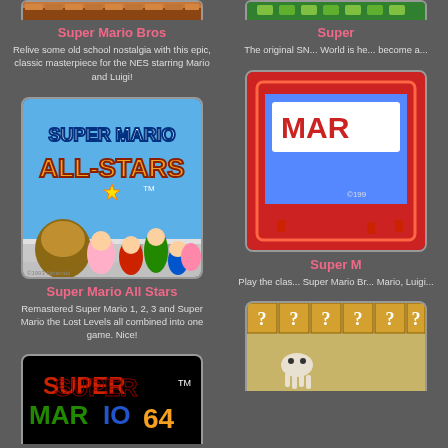[Figure (screenshot): Super Mario Bros NES game cartridge art (top cropped)]
Super Mario Bros
Relive some old school nostalgia with this epic, classic masterpiece for the NES starring Mario and Luigi!
[Figure (screenshot): Super Mario World SNES game art (top cropped, right column)]
Super (truncated)
The original SN... World is he... become a...
[Figure (screenshot): Super Mario All Stars SNES game cover art showing Bowser, Princess Peach, Mario, Luigi, Toad, Yoshi and others]
Super Mario All Stars
Remastered Super Mario 1, 2, 3 and Super Mario the Lost Levels all combined into one game. Nice!
[Figure (screenshot): Super Mario Bros (right column mid, partially visible game title screen with red background)]
Super M (truncated)
Play the clas... Super Mario Br... Mario, Luigi...
[Figure (screenshot): Super Mario 64 game title screen with colorful 3D letters on black background (bottom left, partially cropped)]
[Figure (screenshot): Another Mario game thumbnail (bottom right, partially visible with question blocks and squid character)]